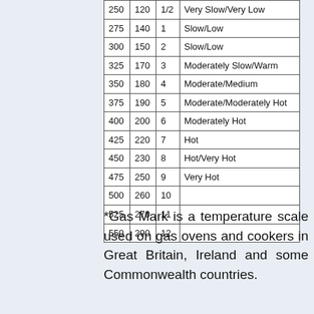| 250 | 120 | 1/2 | Very Slow/Very Low |
| 275 | 140 | 1 | Slow/Low |
| 300 | 150 | 2 | Slow/Low |
| 325 | 170 | 3 | Moderately Slow/Warm |
| 350 | 180 | 4 | Moderate/Medium |
| 375 | 190 | 5 | Moderate/Moderately Hot |
| 400 | 200 | 6 | Moderately Hot |
| 425 | 220 | 7 | Hot |
| 450 | 230 | 8 | Hot/Very Hot |
| 475 | 250 | 9 | Very Hot |
| 500 | 260 | 10 |  |
| 525 | 270 | 11 |  |
| 550 | 290 | 12 |  |
*Gas Mark is a temperature scale used on gas ovens and cookers in Great Britain, Ireland and some Commonwealth countries.